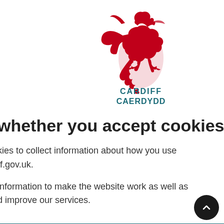[Figure (logo): Cardiff Caerdydd red dragon council logo with teal text CARDIFF CAERDYDD]
whether you accept cookies
kies to collect information about how you use .f.gov.uk.
information to make the website work as well as d improve our services.
[Figure (screenshot): Accept all cookies teal button]
[Figure (screenshot): Set cookie preferences grey button]